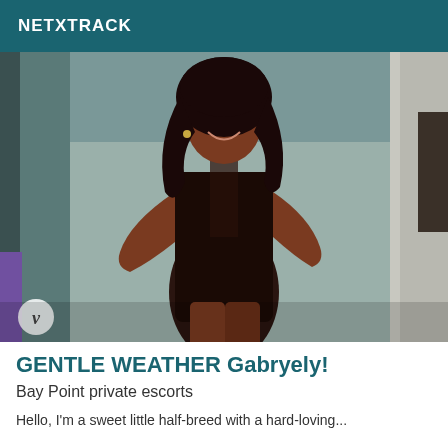NETXTRACK
[Figure (photo): A young woman in a short black dress standing and posing, smiling, with long dark curly hair, photographed in front of a building exterior. A circular logo with the letter V appears in the bottom left corner of the photo.]
GENTLE WEATHER Gabryely!
Bay Point private escorts
Hello, I'm a sweet little half-breed with a hard-loving...